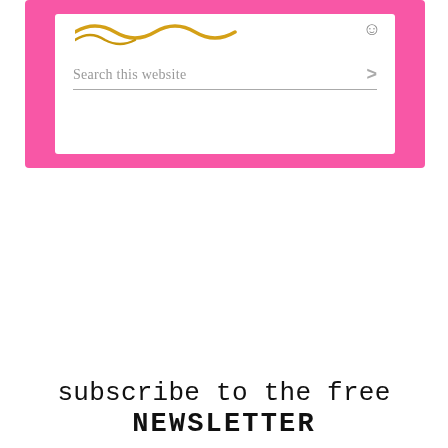[Figure (screenshot): A website search widget with a pink border/frame. Inside is a white box containing a search input field with placeholder text 'Search this website' and a '>' arrow button. Above the search field there are decorative yellow/gold squiggly lines and a small face/emoji graphic.]
subscribe to the free NEWSLETTER